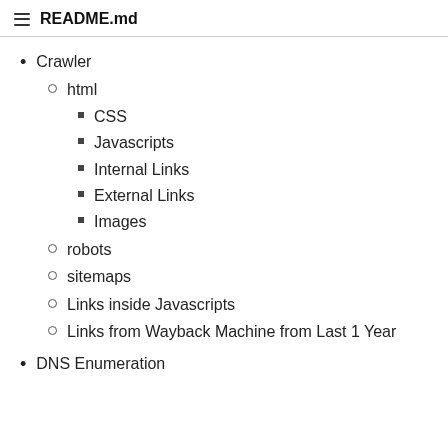README.md
Crawler
html
CSS
Javascripts
Internal Links
External Links
Images
robots
sitemaps
Links inside Javascripts
Links from Wayback Machine from Last 1 Year
DNS Enumeration